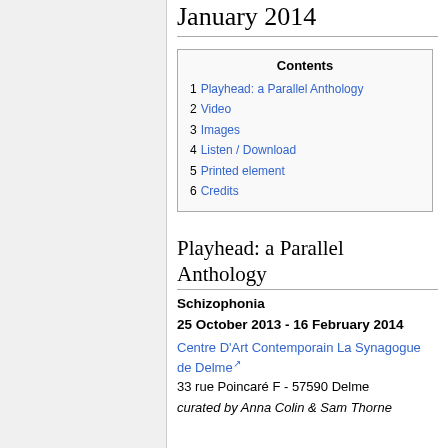January 2014
| Contents |
| --- |
| 1 Playhead: a Parallel Anthology |
| 2 Video |
| 3 Images |
| 4 Listen / Download |
| 5 Printed element |
| 6 Credits |
Playhead: a Parallel Anthology
Schizophonia
25 October 2013 - 16 February 2014
Centre D'Art Contemporain La Synagogue de Delme
33 rue Poincaré F - 57590 Delme
curated by Anna Colin & Sam Thorne